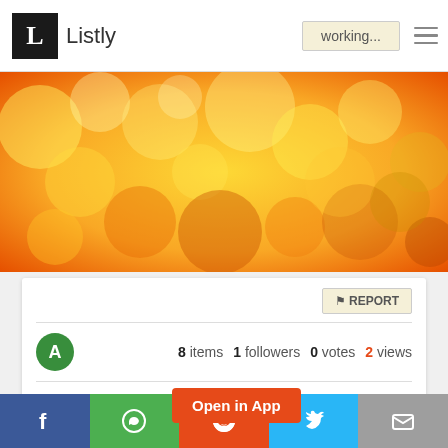L Listly | working...
[Figure (photo): Blurred bokeh background with golden, orange, and amber circular light orbs]
🚩 REPORT
8 items  1 followers  0 votes  2 views
How can I find the best car repair mech...
Open in App
Facebook | WhatsApp | Reddit | Twitter | Email